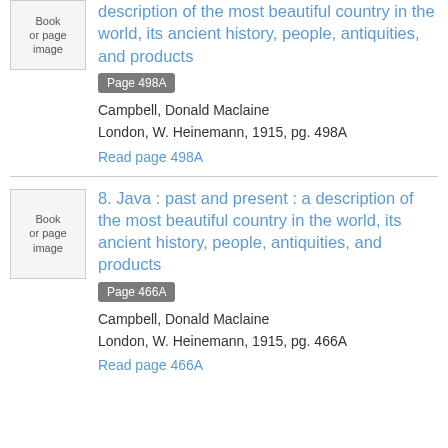[Figure (other): Book or page image placeholder thumbnail]
description of the most beautiful country in the world, its ancient history, people, antiquities, and products
Page 498A
Campbell, Donald Maclaine
London, W. Heinemann, 1915, pg. 498A
Read page 498A
[Figure (other): Book or page image placeholder thumbnail]
8. Java : past and present : a description of the most beautiful country in the world, its ancient history, people, antiquities, and products
Page 466A
Campbell, Donald Maclaine
London, W. Heinemann, 1915, pg. 466A
Read page 466A